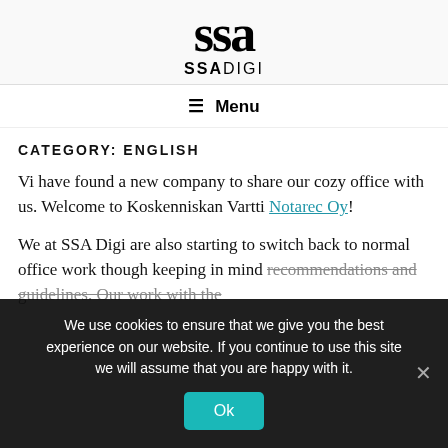[Figure (logo): SSA Digi logo: stylized script letters 'ssa' above bold sans-serif text 'SSADIGI']
☰ Menu
CATEGORY: ENGLISH
Vi have found a new company to share our cozy office with us. Welcome to Koskenniskan Vartti Notarec Oy!
We at SSA Digi are also starting to switch back to normal office work though keeping in mind recommendations and guidelines. Our work with the
We use cookies to ensure that we give you the best experience on our website. If you continue to use this site we will assume that you are happy with it.